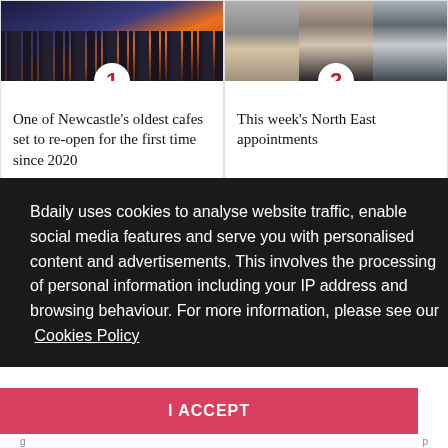[Figure (photo): Photo of a city street at night with storefronts and lights, topped with a red number badge '1']
One of Newcastle's oldest cafes set to re-open for the first time since 2020
[Figure (photo): Three professional headshot photos of people, topped with a red number badge '2']
This week's North East appointments
Bdaily uses cookies to analyse website traffic, enable social media features and serve you with personalised content and advertisements. This involves the processing of personal information including your IP address and browsing behaviour. For more information, please see our Cookies Policy
I ACCEPT